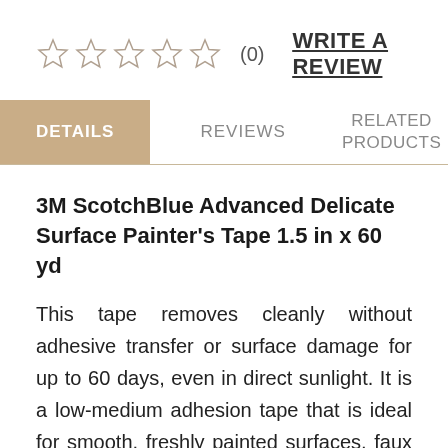[Figure (other): Five empty star rating icons followed by (0) review count and WRITE A REVIEW link]
DETAILS    REVIEWS    RELATED PRODUCTS
3M ScotchBlue Advanced Delicate Surface Painter's Tape 1.5 in x 60 yd
This tape removes cleanly without adhesive transfer or surface damage for up to 60 days, even in direct sunlight. It is a low-medium adhesion tape that is ideal for smooth, freshly painted surfaces, faux painting, wood floors and